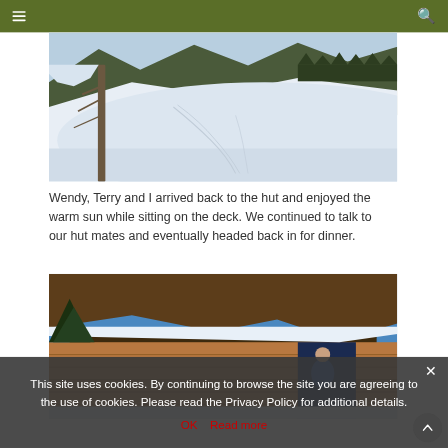Navigation menu and search
[Figure (photo): Snowy winter mountain landscape with ski tracks on open snow field, trees and mountains in background, bare tree trunk in foreground]
Wendy, Terry and I arrived back to the hut and enjoyed the warm sun while sitting on the deck. We continued to talk to our hut mates and eventually headed back in for dinner.
[Figure (photo): Wooden cabin hut exterior with snow, blue sky, and person visible]
This site uses cookies. By continuing to browse the site you are agreeing to the use of cookies. Please read the Privacy Policy for additional details.
OK   Read more